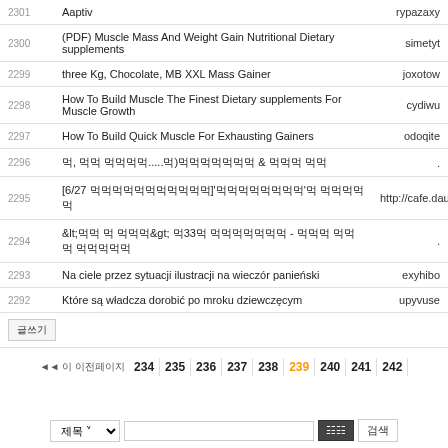| # | Title | Author |
| --- | --- | --- |
| 2301 | Aaptiv | rypazaxy |
| 2300 | (PDF) Muscle Mass And Weight Gain Nutritional Dietary supplements | simetyt |
| 2299 | three Kg, Chocolate, MB XXL Mass Gainer | joxotow |
| 2298 | How To Build Muscle The Finest Dietary supplements For Muscle Growth | cydiwu |
| 2297 | How To Build Quick Muscle For Exhausting Gainers | odoqite |
| 2296 | 먹, 먹먹 먹먹먹먹.....먹)먹먹먹먹먹먹먹 & 먹먹먹 먹먹 | . |
| 2295 | [6/27 먹먹먹먹먹먹먹먹먹먹먹]'먹먹먹먹먹먹먹먹'먹 먹먹먹먹먹 | http://cafe.dau |
| 2294 | &lt;먹먹 먹 먹먹먹&gt; 먹33먹 먹먹먹먹먹먹먹 - 먹먹먹 먹먹먹 먹먹먹먹먹 | . |
| 2293 | Na ciele przez sytuacji ilustracji na wieczór panieński | exyhibo |
| 2292 | Które są władcza dorobić po mroku dziewczęcym | upyvuse |
글쓰기
처음 이전페이지 | 234 | 235 | 236 | 237 | 238 | 239 | 240 | 241 | 242